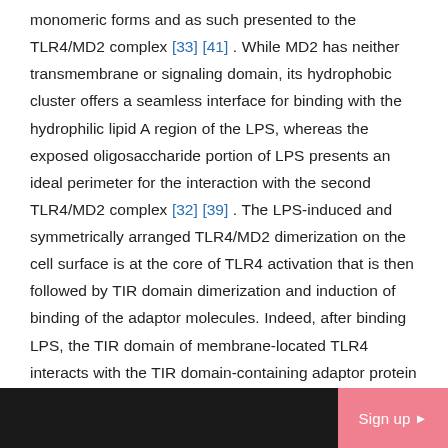monomeric forms and as such presented to the TLR4/MD2 complex [33] [41] . While MD2 has neither transmembrane or signaling domain, its hydrophobic cluster offers a seamless interface for binding with the hydrophilic lipid A region of the LPS, whereas the exposed oligosaccharide portion of LPS presents an ideal perimeter for the interaction with the second TLR4/MD2 complex [32] [39] . The LPS-induced and symmetrically arranged TLR4/MD2 dimerization on the cell surface is at the core of TLR4 activation that is then followed by TIR domain dimerization and induction of binding of the adaptor molecules. Indeed, after binding LPS, the TIR domain of membrane-located TLR4 interacts with the TIR domain-containing adaptor protein Mal (MyD88 adaptor-like), followed by the interaction with the TIR region of myeloid differentiation factor 88 (MyD88). Apparently, in this process, dimerization of the extracellular domains leads to juxtaposition of
Sign up